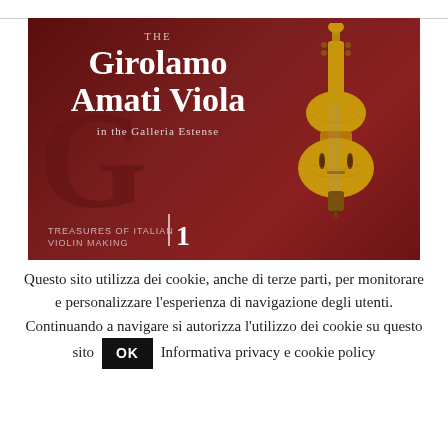[Figure (photo): Book cover image: 'The Girolamo Amati Viola in the Galleria Estense' — dark red background with large stylized letters, a violin/viola instrument on the right side, subtitle 'Treasures of Italian Violin Making | 1']
Questo sito utilizza dei cookie, anche di terze parti, per monitorare e personalizzare l'esperienza di navigazione degli utenti. Continuando a navigare si autorizza l'utilizzo dei cookie su questo sito OK Informativa privacy e cookie policy